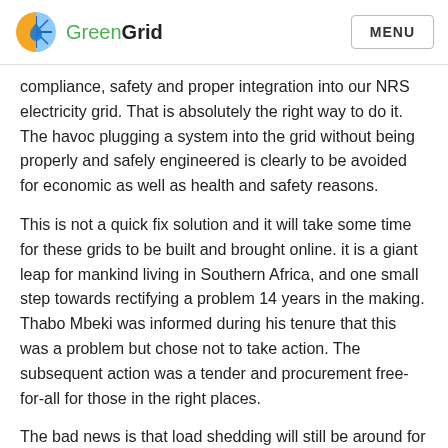GreenGrid  MENU
compliance, safety and proper integration into our NRS electricity grid. That is absolutely the right way to do it. The havoc plugging a system into the grid without being properly and safely engineered is clearly to be avoided for economic as well as health and safety reasons.
This is not a quick fix solution and it will take some time for these grids to be built and brought online. it is a giant leap for mankind living in Southern Africa, and one small step towards rectifying a problem 14 years in the making. Thabo Mbeki was informed during his tenure that this was a problem but chose not to take action. The subsequent action was a tender and procurement free-for-all for those in the right places.
The bad news is that load shedding will still be around for the foreseeable future given the maintenance back log on our